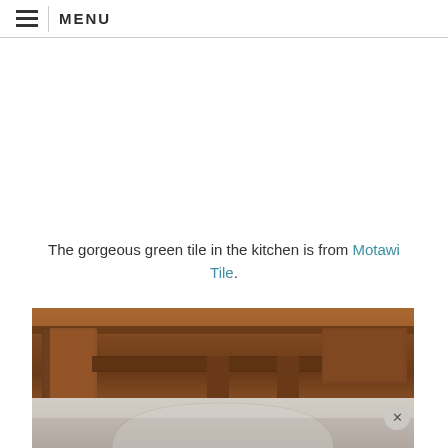≡ MENU
The gorgeous green tile in the kitchen is from Motawi Tile.
[Figure (photo): Interior photo showing wooden ceiling beams and green kitchen tile, with a partial view of an archway room below]
[Figure (photo): Partial view of a room with arched openings, shown at bottom of page with a close (×) button overlay]